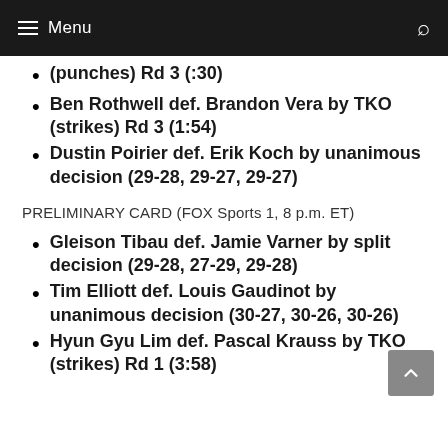Menu
(punches) Rd 3 (:30)
Ben Rothwell def. Brandon Vera by TKO (strikes) Rd 3 (1:54)
Dustin Poirier def. Erik Koch by unanimous decision (29-28, 29-27, 29-27)
PRELIMINARY CARD (FOX Sports 1, 8 p.m. ET)
Gleison Tibau def. Jamie Varner by split decision (29-28, 27-29, 29-28)
Tim Elliott def. Louis Gaudinot by unanimous decision (30-27, 30-26, 30-26)
Hyun Gyu Lim def. Pascal Krauss by TKO (strikes) Rd 1 (3:58)